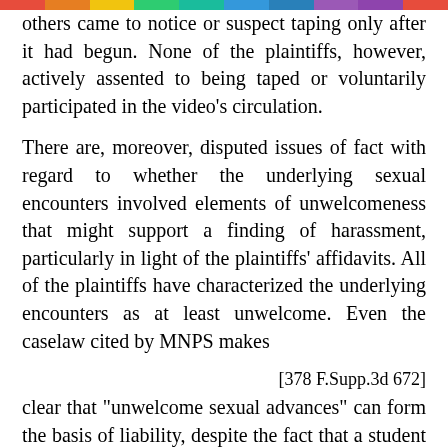others came to notice or suspect taping only after it had begun. None of the plaintiffs, however, actively assented to being taped or voluntarily participated in the video's circulation.
There are, moreover, disputed issues of fact with regard to whether the underlying sexual encounters involved elements of unwelcomeness that might support a finding of harassment, particularly in light of the plaintiffs' affidavits. All of the plaintiffs have characterized the underlying encounters as at least unwelcome. Even the caselaw cited by MNPS makes
[378 F.Supp.3d 672]
clear that "unwelcome sexual advances" can form the basis of liability, despite the fact that a student ultimately voluntarily participates in sexual activity with a party making those advances. Winzer, 105 F. App'x at 681. Indeed, it is well-settled that "the fact that sex-related conduct was 'voluntary,' in the sense that the complainant was